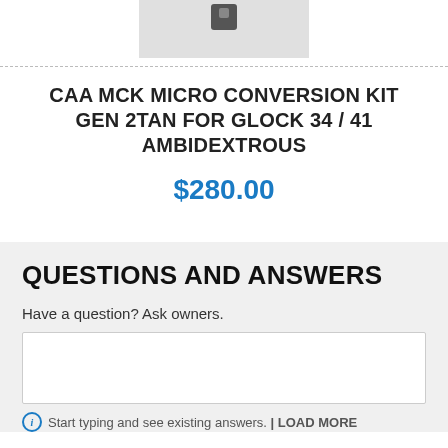[Figure (photo): Partial view of a product image (gun conversion kit), cropped at top]
CAA MCK MICRO CONVERSION KIT GEN 2TAN FOR GLOCK 34 / 41 AMBIDEXTROUS
$280.00
QUESTIONS AND ANSWERS
Have a question? Ask owners.
Start typing and see existing answers. | LOAD MORE